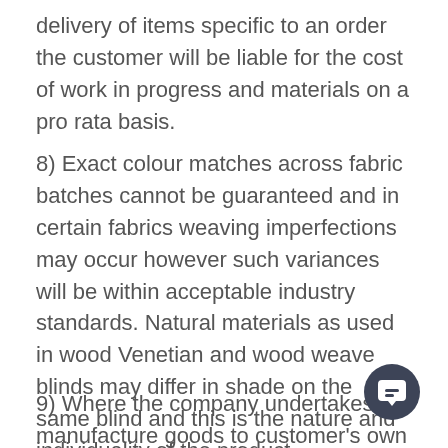delivery of items specific to an order the customer will be liable for the cost of work in progress and materials on a pro rata basis.
8) Exact colour matches across fabric batches cannot be guaranteed and in certain fabrics weaving imperfections may occur however such variances will be within acceptable industry standards. Natural materials as used in wood Venetian and wood weave blinds may differ in shade on the same blind and this is the nature and individuality of the product.
9) Where the company undertakes to manufacture goods to customer’s own sizes